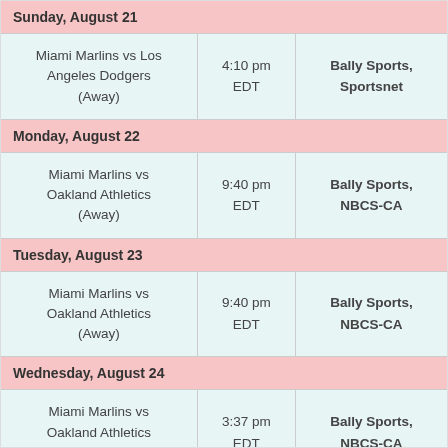| Game | Time | Network |
| --- | --- | --- |
| Sunday, August 21 |  |  |
| Miami Marlins vs Los Angeles Dodgers (Away) | 4:10 pm EDT | Bally Sports, Sportsnet |
| Monday, August 22 |  |  |
| Miami Marlins vs Oakland Athletics (Away) | 9:40 pm EDT | Bally Sports, NBCS-CA |
| Tuesday, August 23 |  |  |
| Miami Marlins vs Oakland Athletics (Away) | 9:40 pm EDT | Bally Sports, NBCS-CA |
| Wednesday, August 24 |  |  |
| Miami Marlins vs Oakland Athletics (Away) | 3:37 pm EDT | Bally Sports, NBCS-CA |